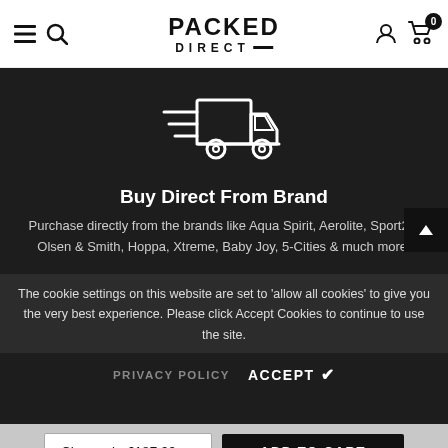PACKED DIRECT
[Figure (illustration): Delivery truck icon in white outline on dark background]
Buy Direct From Brand
Purchase directly from the brands like Aqua Spirit, Aerolite, Sport24, Olsen & Smith, Hoppa, Xtreme, Baby Joy, 5-Cities & much more!
The cookie settings on this website are set to 'allow all cookies' to give you the very best experience. Please click Accept Cookies to continue to use the site.
PRIVACY POLICY   ACCEPT ✓
Charcoal - £187.99   ADD TO CART